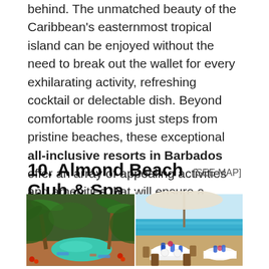behind. The unmatched beauty of the Caribbean's easternmost tropical island can be enjoyed without the need to break out the wallet for every exhilarating activity, refreshing cocktail or delectable dish. Beyond comfortable rooms just steps from pristine beaches, these exceptional all-inclusive resorts in Barbados offer an array of appealing activities and amenities that will ensure a memorable vacation experience.
10. Almond Beach Club & Spa [SEE MAP]
[Figure (photo): Two side-by-side photos: left shows a tropical pool area surrounded by palm trees and lush greenery with lounge chairs; right shows an outdoor oceanfront dining area with white tablecloths, blue glassware, and turquoise ocean water in the background.]